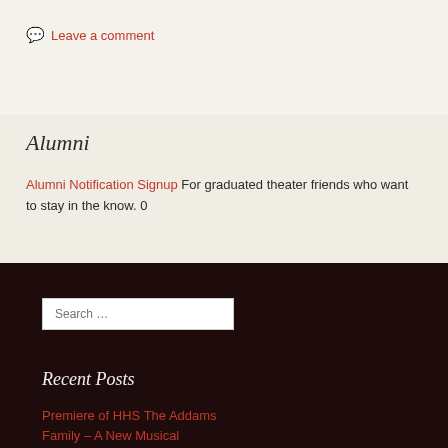💬 Leave a comment
Alumni
Alumni Notification Signup For graduated theater friends who want to stay in the know. 0
Search …
Recent Posts
Premiere of HHS The Addams Family – A New Musical